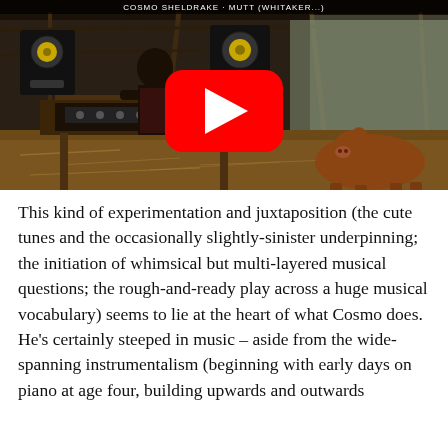[Figure (screenshot): YouTube video thumbnail showing a person with audio equipment in a barn/farm setting with pigs, with a large red YouTube play button overlay in the center.]
This kind of experimentation and juxtaposition (the cute tunes and the occasionally slightly-sinister underpinning; the initiation of whimsical but multi-layered musical questions; the rough-and-ready play across a huge musical vocabulary) seems to lie at the heart of what Cosmo does. He's certainly steeped in music – aside from the wide-spanning instrumentalism (beginning with early days on piano at age four, building upwards and outwards